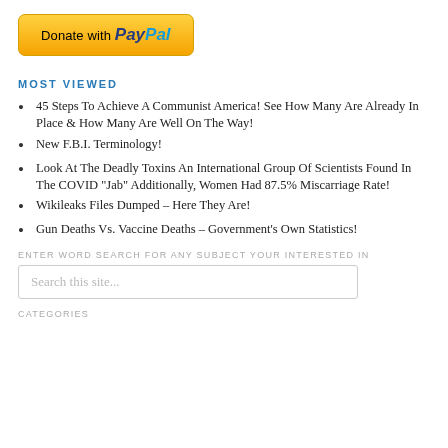[Figure (logo): Donate with PayPal button — orange/yellow gradient rounded rectangle with 'Donate with PayPal' text]
MOST VIEWED
45 Steps To Achieve A Communist America! See How Many Are Already In Place & How Many Are Well On The Way!
New F.B.I. Terminology!
Look At The Deadly Toxins An International Group Of Scientists Found In The COVID "Jab" Additionally, Women Had 87.5% Miscarriage Rate!
Wikileaks Files Dumped – Here They Are!
Gun Deaths Vs. Vaccine Deaths – Government's Own Statistics!
ENTER WORD SEARCH FOR ANY SUBJECT YOUR INTERESTED IN
Search this site...
CATEGORIES